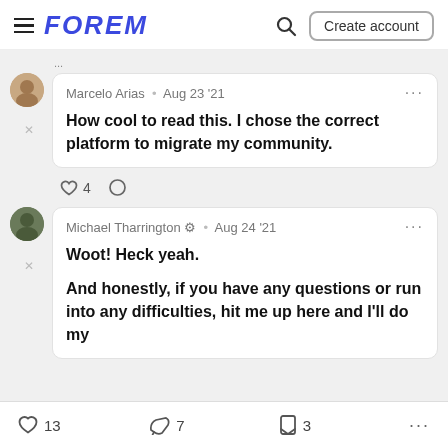FOREM — Create account
Marcelo Arias · Aug 23 '21 — How cool to read this. I chose the correct platform to migrate my community.
♡ 4  ○
Michael Tharrington ⚙ · Aug 24 '21 — Woot! Heck yeah. And honestly, if you have any questions or run into any difficulties, hit me up here and I'll do my
♡ 13   7   □ 3   ...